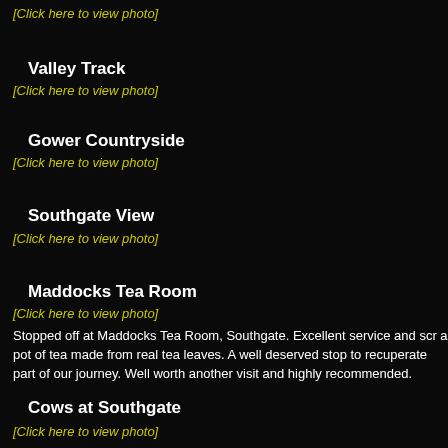[Click here to view photo]
Valley Track
[Click here to view photo]
Gower Countryside
[Click here to view photo]
Southgate View
[Click here to view photo]
Maddocks Tea Room
[Click here to view photo]
Stopped off at Maddocks Tea Room, Southgate. Excellent service and scr a pot of tea made from real tea leaves. A well deserved stop to recuperate part of our journey. Well worth another visit and highly recommended.
Cows at Southgate
[Click here to view photo]